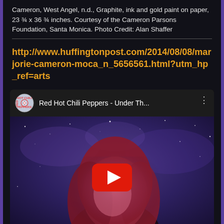Cameron, West Angel, n.d., Graphite, ink and gold paint on paper, 23 ¾ x 36 ¾ inches. Courtesy of the Cameron Parsons Foundation, Santa Monica. Photo Credit: Alan Shaffer
http://www.huffingtonpost.com/2014/08/08/marjorie-cameron-moca_n_5656561.html?utm_hp_ref=arts
[Figure (screenshot): YouTube video player showing Red Hot Chili Peppers - Under Th... with a woman with red hair against a purple starry sky background, with a YouTube play button overlay]